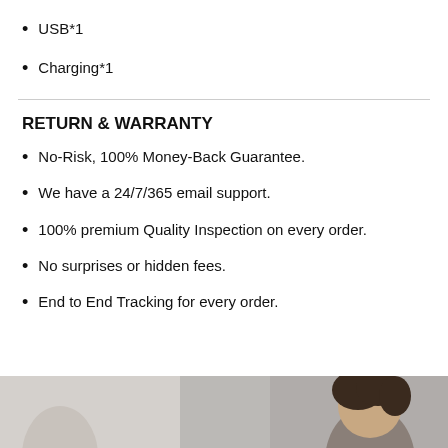USB*1
Charging*1
RETURN & WARRANTY
No-Risk, 100% Money-Back Guarantee.
We have a 24/7/365 email support.
100% premium Quality Inspection on every order.
No surprises or hidden fees.
End to End Tracking for every order.
[Figure (photo): Photo of two people, partially visible at the bottom of the page.]